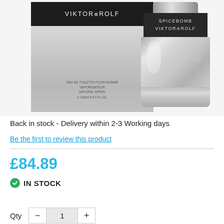[Figure (photo): Product photo showing Viktor & Rolf Spicebomb cologne box (left) and bottle (right). Box shows brand name 'VIKTOR&ROLF' in white on dark background, with text 'EAU DE TOILETTE POUR HOMME VAPORISATEUR NATURAL SPRAY e 150ml 5.07 FL.OZ.' Bottle is cylindrical with chrome/silver body and dark band labeled 'SPICEBOMB VIKTOR&ROLF'.]
Back in stock - Delivery within 2-3 Working days
Be the first to review this product
£84.89
IN STOCK
Qty